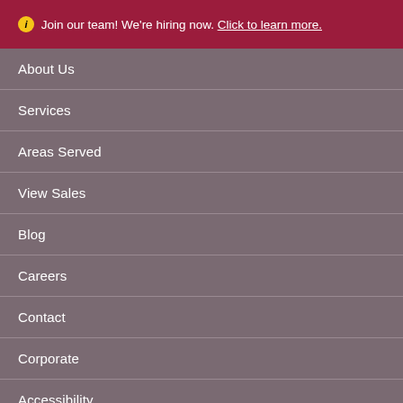ℹ Join our team! We're hiring now. Click to learn more.
About Us
Services
Areas Served
View Sales
Blog
Careers
Contact
Corporate
Accessibility
Privacy Policy
[Figure (other): Social media icons: Facebook, LinkedIn, Instagram, Google]